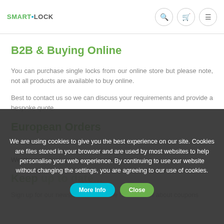SMARTLOCK
B2B & Buying Online
You can purchase single locks from our online store but please note, not all products are available to buy online.
Best to contact us so we can discuss your requirements and provide a bespoke quote.
European Orders
Keep...
Sign up for our newsletter and be the first to know about coupons
We are using cookies to give you the best experience on our site. Cookies are files stored in your browser and are used by most websites to help personalise your web experience. By continuing to use our website without changing the settings, you are agreeing to our use of cookies.